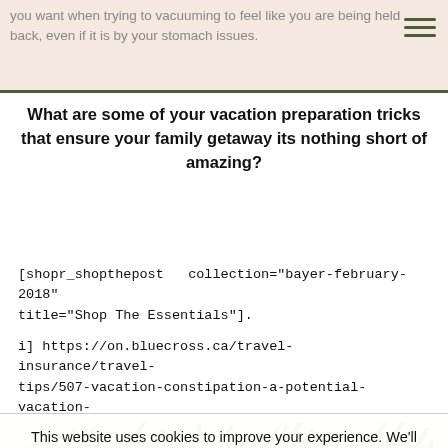you want when trying to vacuuming to feel like you are being held back, even if it is by your stomach issues.
What are some of your vacation preparation tricks that ensure your family getaway its nothing short of amazing?
[shopr_shopthepost   collection="bayer-february-2018" title="Shop The Essentials"].
i] https://on.bluecross.ca/travel-insurance/travel-tips/507-vacation-constipation-a-potential-vacation-downer
[Figure (illustration): Decorative cursive/script text signature partially visible at bottom of page]
This website uses cookies to improve your experience. We'll assume you're ok with this, but you can opt-out if you wish.  Accept  Reject  Read Privacy Policy